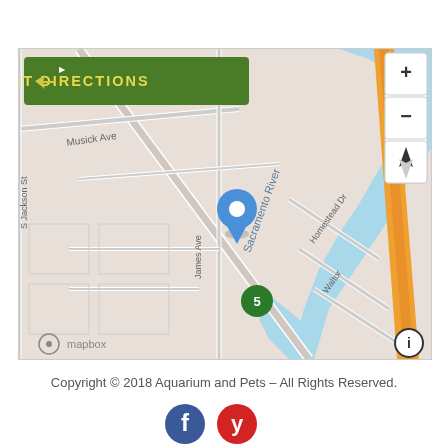[Figure (map): Mapbox map showing Sacramento area with a blue location pin marker, Interstate 5 highway in orange, Sacramento River in blue, with street labels including Musick Ave, James Ave, S Jackson St, Homestead Dr, and Walton. A green 'GET DIRECTIONS' button with arrow icon is overlaid in the upper-left corner. Map controls (+, -, compass) appear in the upper right.]
Copyright © 2018 Aquarium and Pets – All Rights Reserved.
[Figure (logo): Facebook and Yelp social media icons]